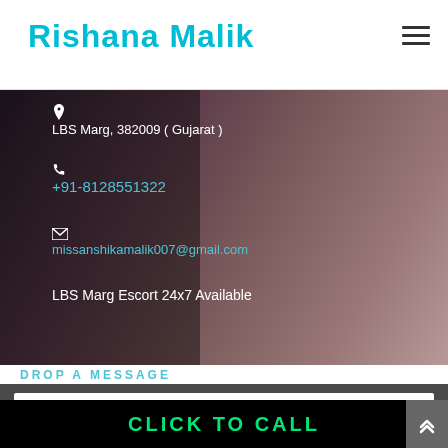Rishana Malik
[Figure (photo): Background photo of a person lying down, semi-clothed, serving as contact page background]
LBS Marg, 382009 ( Gujarat )
+91-8128551322
missanshikamalik007@gmail.com
LBS Marg Escort 24x7 Available
DROP A MESSAGE
Name
CLICK TO CALL